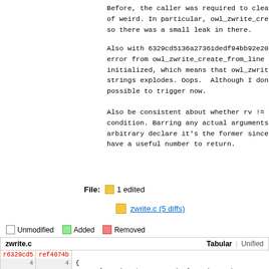Before, the caller was required to cleanup of weird. In particular, owl_zwrite_create so there was a small leak in there.
Also with 6329cd5136a27361dedf94bb92e20fa2 error from owl_zwrite_create_from_line bef initialized, which means that owl_zwrite_n strings explodes. Oops.  Although I don't possible to trigger now.
Also be consistent about whether rv != 0 o condition. Barring any actual arguments on arbitrary declare it's the former since th have a useful number to return.
File:  1 edited
zwrite.c (5 diffs)
Unmodified   Added   Removed
| zwrite.c |  | Tabular | Unified |
| --- | --- | --- | --- |
| r6329cd5 | ref4074b |  |  |
| 4 | 4 | { |  |
| 5 | 5 |     owl_zwrite *z = g_new(owl_zwrite, 1); |  |
| 6 |  |     if (owl_zwrite_create_from_line(z, line) < 0) { |  |